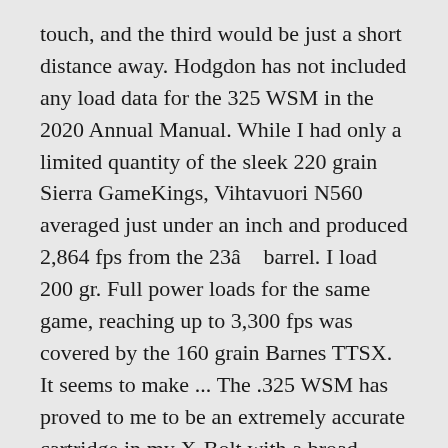touch, and the third would be just a short distance away. Hodgdon has not included any load data for the 325 WSM in the 2020 Annual Manual. While I had only a limited quantity of the sleek 220 grain Sierra GameKings, Vihtavuori N560 averaged just under an inch and produced 2,864 fps from the 23â barrel. I load 200 gr. Full power loads for the same game, reaching up to 3,300 fps was covered by the 160 grain Barnes TTSX. It seems to make ... The .325 WSM has proved to me to be an extremely accurate cartridge in my X-Bolt with a broad variety of bullets. 243 Win. These include the 180 grain Ballistic SilverTip (Nosler Ballistic Tip) loaded to a true 3060fps, the 200 grain Accubond loaded to a true 2950fps and